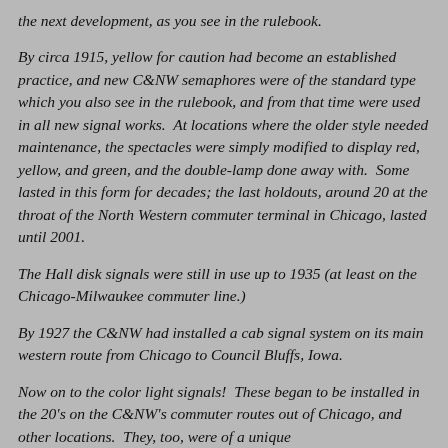the next development, as you see in the rulebook.
By circa 1915, yellow for caution had become an established practice, and new C&NW semaphores were of the standard type which you also see in the rulebook, and from that time were used in all new signal works.  At locations where the older style needed maintenance, the spectacles were simply modified to display red, yellow, and green, and the double-lamp done away with.  Some lasted in this form for decades; the last holdouts, around 20 at the throat of the North Western commuter terminal in Chicago, lasted until 2001.
The Hall disk signals were still in use up to 1935 (at least on the Chicago-Milwaukee commuter line.)
By 1927 the C&NW had installed a cab signal system on its main western route from Chicago to Council Bluffs, Iowa.
Now on to the color light signals!  These began to be installed in the 20's on the C&NW's commuter routes out of Chicago, and other locations.  They, too, were of a unique